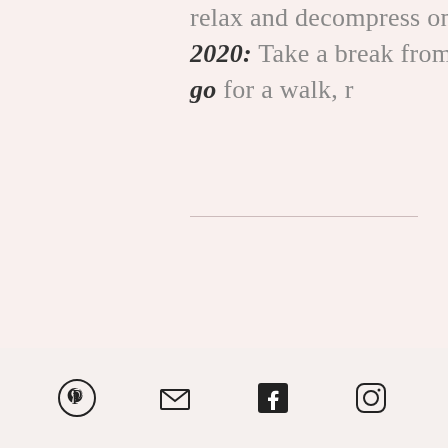relax and decompress on Election Day 2020: Take a break from the screen and go for a walk, r
[Figure (other): Hamburger menu icon with three horizontal lines]
Social media icons: Pinterest, Email, Facebook, Instagram